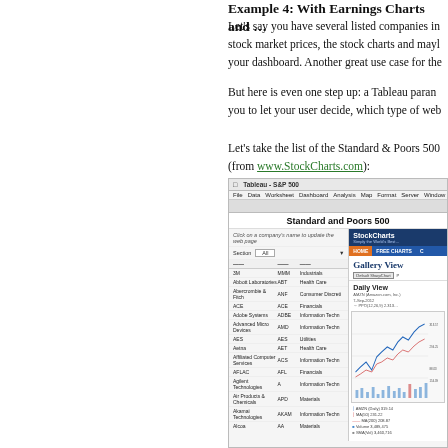Example 4: With Earnings Charts and ...
Let's say you have several listed companies in stock market prices, the stock charts and maybe your dashboard. Another great use case for the...
But here is even one step up: a Tableau parameter allows you to let your user decide, which type of web...
Let's take the list of the Standard & Poors 500 (from www.StockCharts.com):
[Figure (screenshot): Screenshot of a Tableau dashboard titled 'Standard and Poors 500' showing a list of S&P 500 companies with columns for company name, ticker symbol, and sector. Amazon.com is highlighted in blue. On the right side is a StockCharts.com panel showing a 'Gallery View' with a 'Daily View' stock chart for AMZN (Amazon.com).]